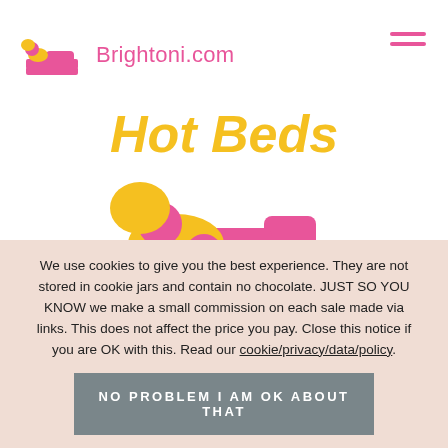Brightoni.com
Hot Beds
[Figure (logo): Brightoni.com logo: pink icon of person lying in bed with yellow/pink splash, used both in header and as large center illustration]
We use cookies to give you the best experience. They are not stored in cookie jars and contain no chocolate. JUST SO YOU KNOW we make a small commission on each sale made via links. This does not affect the price you pay. Close this notice if you are OK with this. Read our cookie/privacy/data/policy.
NO PROBLEM I AM OK ABOUT THAT